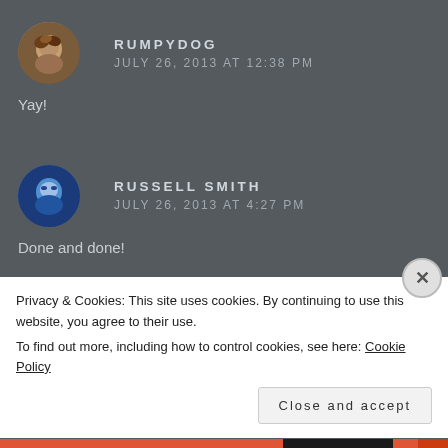RUMPYDOG
JULY 26, 2013 AT 12:38 PM
Yay!
RUSSELL SMITH
JULY 26, 2013 AT 4:27 PM
Done and done!
Privacy & Cookies: This site uses cookies. By continuing to use this website, you agree to their use.
To find out more, including how to control cookies, see here: Cookie Policy
Close and accept